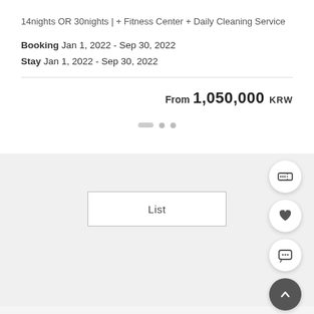14nights OR 30nights | + Fitness Center + Daily Cleaning Service
Booking  Jan 1, 2022 - Sep 30, 2022
Stay  Jan 1, 2022 - Sep 30, 2022
From 1,050,000 KRW
[Figure (other): Pagination dots: one wide pill and two round dots]
List
[Figure (other): Floating action buttons: ticket icon, heart icon, chat/comment icon, and up-arrow icon]
[Figure (other): Floating action button: heart icon]
[Figure (other): Floating action button: chat/comment icon]
[Figure (other): Floating action button: up-arrow icon (dark background)]